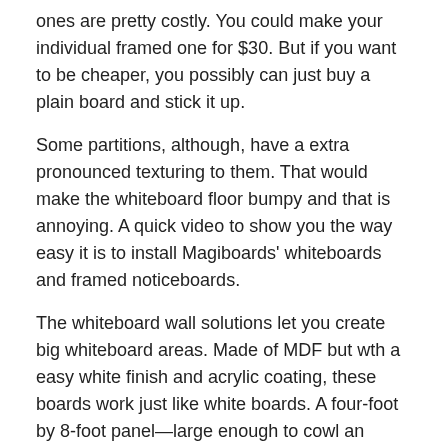ones are pretty costly. You could make your individual framed one for $30. But if you want to be cheaper, you possibly can just buy a plain board and stick it up.
Some partitions, although, have a extra pronounced texturing to them. That would make the whiteboard floor bumpy and that is annoying. A quick video to show you the way easy it is to install Magiboards' whiteboards and framed noticeboards.
The whiteboard wall solutions let you create big whiteboard areas. Made of MDF but wth a easy white finish and acrylic coating, these boards work just like white boards. A four-foot by 8-foot panel—large enough to cowl an honest quantity of wall space— is simply $13.forty seven.
Large Whiteboard And Whiteboard Wall
We're working on the issue and anticipate to resolve it shortly. Please observe that if you had been attempting to put on order